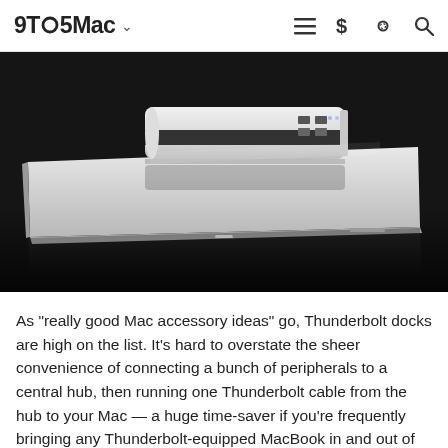9TO5Mac
[Figure (photo): A silver Thunderbolt dock sitting on top of a closed MacBook laptop, photographed from a low angle on a dark reflective surface. The dock is a compact silver device with a dark strip and ports on its right side.]
As "really good Mac accessory ideas" go, Thunderbolt docks are high on the list. It's hard to overstate the sheer convenience of connecting a bunch of peripherals to a central hub, then running one Thunderbolt cable from the hub to your Mac — a huge time-saver if you're frequently bringing any Thunderbolt-equipped MacBook in and out of an office full of hardware.